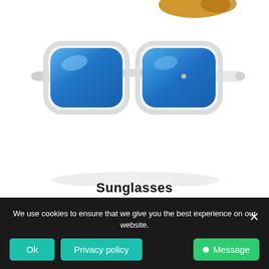[Figure (photo): White-framed wayfarer sunglasses with blue mirrored lenses, shown at an angle on a white background. A partial view of gold/brown-lens sunglasses is visible at the top.]
Sunglasses
Select options
We use cookies to ensure that we give you the best experience on our website.
Ok
Privacy policy
Message